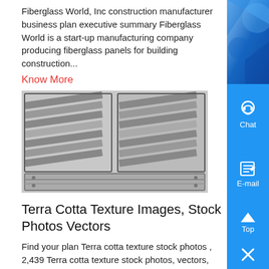Fiberglass World, Inc construction manufacturer business plan executive summary Fiberglass World is a start-up manufacturing company producing fiberglass panels for building construction...
Know More
[Figure (photo): Black and white photo of industrial metal grating or panel molds arranged in rows]
Terra Cotta Texture Images, Stock Photos Vectors
Find your plan Terra cotta texture stock photos , 2,439 Terra cotta texture stock photos, vectors, and illustrations are available royalty free , Pattern of triangular clay tiles, honeycomb tile pattern, yellow wall, Terra Cotta Tiles, Terracotta, earth tiles, triangular bricks E Artist Similar...
Know More